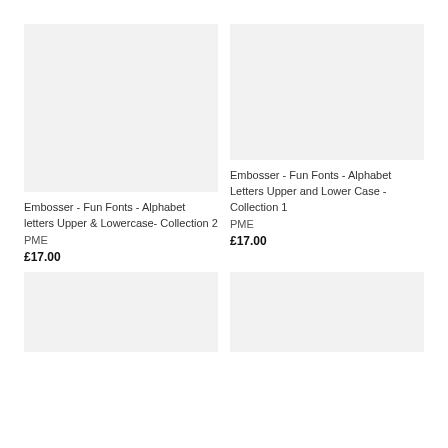[Figure (photo): Product image placeholder (light gray rectangle) for Embosser - Fun Fonts - Alphabet letters Upper & Lowercase- Collection 2]
[Figure (photo): Product image placeholder (light gray rectangle) for Embosser - Fun Fonts - Alphabet Letters Upper and Lower Case - Collection 1]
Embosser - Fun Fonts - Alphabet letters Upper & Lowercase- Collection 2
PME
£17.00
Embosser - Fun Fonts - Alphabet Letters Upper and Lower Case - Collection 1
PME
£17.00
[Figure (photo): Product image placeholder (light gray rectangle) bottom left]
[Figure (photo): Product image placeholder (light gray rectangle) bottom right]